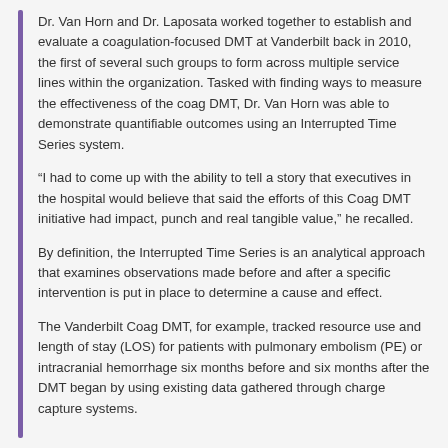Dr. Van Horn and Dr. Laposata worked together to establish and evaluate a coagulation-focused DMT at Vanderbilt back in 2010, the first of several such groups to form across multiple service lines within the organization. Tasked with finding ways to measure the effectiveness of the coag DMT, Dr. Van Horn was able to demonstrate quantifiable outcomes using an Interrupted Time Series system.
“I had to come up with the ability to tell a story that executives in the hospital would believe that said the efforts of this Coag DMT initiative had impact, punch and real tangible value,” he recalled.
By definition, the Interrupted Time Series is an analytical approach that examines observations made before and after a specific intervention is put in place to determine a cause and effect.
The Vanderbilt Coag DMT, for example, tracked resource use and length of stay (LOS) for patients with pulmonary embolism (PE) or intracranial hemorrhage six months before and six months after the DMT began by using existing data gathered through charge capture systems.